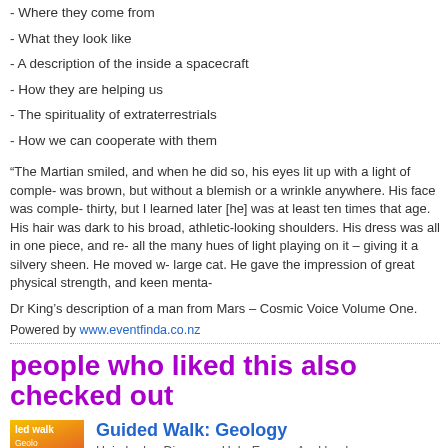- Where they come from
- What they look like
- A description of the inside a spacecraft
- How they are helping us
- The spirituality of extraterrestrials
- How we can cooperate with them
“The Martian smiled, and when he did so, his eyes lit up with a light of comple- was brown, but without a blemish or a wrinkle anywhere. His face was comple- thirty, but I learned later [he] was at least ten times that age. His hair was dark to his broad, athletic-looking shoulders. His dress was all in one piece, and re- all the many hues of light playing on it – giving it a silvery sheen. He moved w- large cat. He gave the impression of great physical strength, and keen menta-
Dr King’s description of a man from Mars – Cosmic Voice Volume One.
Powered by www.eventfinda.co.nz
people who liked this also checked out
Guided Walk: Geology
Huia Lodge Discovery Hub, Epsom, Auckland